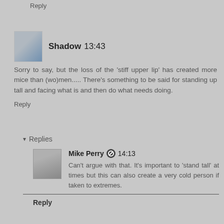Reply
Shadow 13:43
Sorry to say, but the loss of the 'stiff upper lip' has created more mice than (wo)men..... There's something to be said for standing up tall and facing what is and then do what needs doing.
Reply
▾ Replies
Mike Perry 14:13
Can't argue with that. It's important to 'stand tall' at times but this can also create a very cold person if taken to extremes.
Reply